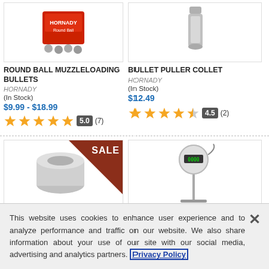[Figure (photo): Box of Hornady Round Ball Muzzleloading Bullets with bullets scattered in front]
ROUND BALL MUZZLELOADING BULLETS
HORNADY
(In Stock)
$9.99 - $18.99
5.0 (7)
[Figure (photo): Hornady Bullet Puller Collet, cylindrical metal tool]
BULLET PULLER COLLET
HORNADY
(In Stock)
$12.49
4.5 (2)
[Figure (photo): Metal die/bushing with SALE badge overlay]
[Figure (photo): Digital indicator gauge on stand]
This website uses cookies to enhance user experience and to analyze performance and traffic on our website. We also share information about your use of our site with our social media, advertising and analytics partners. Privacy Policy